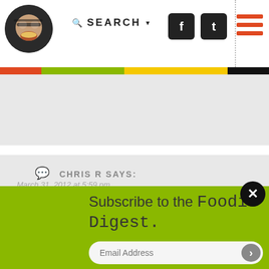SEARCH
REPLY
CHRIS R SAYS:
March 31, 2012 at 5:59 pm
Love the pot roast sub... For the type of food they serve, Purple Parrot is consistent and good, not great, but good.
REPLY
Subscribe to the Foodie Digest.
Email Address